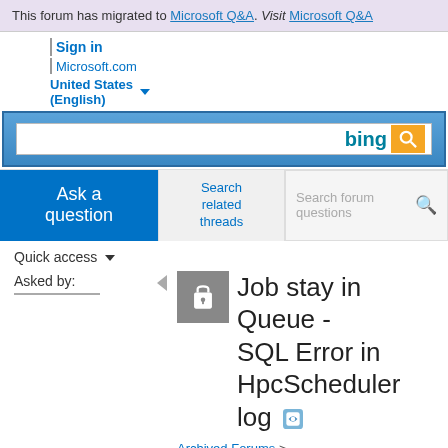This forum has migrated to Microsoft Q&A. Visit Microsoft Q&A
Sign in
Microsoft.com
United States (English)
[Figure (screenshot): Bing search bar with orange search button]
Ask a question | Search related threads | Search forum questions
Quick access
Asked by:
Job stay in Queue - SQL Error in HpcScheduler log
Archived Forums > Windows HPC Server Job Submission and Scheduling